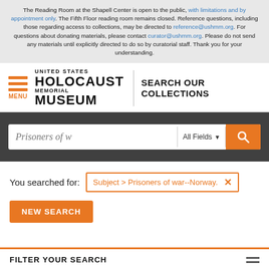The Reading Room at the Shapell Center is open to the public, with limitations and by appointment only. The Fifth Floor reading room remains closed. Reference questions, including those regarding access to collections, may be directed to reference@ushmm.org. For questions about donating materials, please contact curator@ushmm.org. Please do not send any materials until explicitly directed to do so by curatorial staff. Thank you for your understanding.
[Figure (logo): United States Holocaust Memorial Museum logo with hamburger menu and SEARCH OUR COLLECTIONS title]
[Figure (screenshot): Search bar with text 'Prisoners of w', All Fields dropdown, and orange search button]
You searched for: Subject > Prisoners of war--Norway.
NEW SEARCH
FILTER YOUR SEARCH